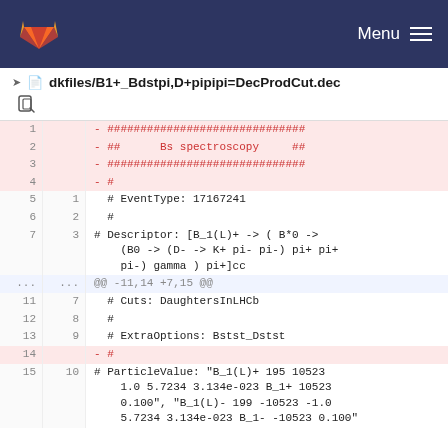Menu
dkfiles/B1+_Bdstpi,D+pipipi=DecProdCut.dec
| old | new | code |
| --- | --- | --- |
| 1 |  | - ############################ |
| 2 |  | - ##      Bs spectroscopy     ## |
| 3 |  | - ############################ |
| 4 |  | - # |
| 5 | 1 |   # EventType: 17167241 |
| 6 | 2 |   # |
| 7 | 3 |   # Descriptor: [B_1(L)+ -> ( B*0 -> (B0 -> (D- -> K+ pi- pi-) pi+ pi+ pi-) gamma ) pi+]cc |
| ... | ... | @@ -11,14 +7,15 @@ |
| 11 | 7 |   # Cuts: DaughtersInLHCb |
| 12 | 8 |   # |
| 13 | 9 |   # ExtraOptions: Bstst_Dstst |
| 14 |  | - # |
| 15 | 10 |   # ParticleValue: "B_1(L)+ 195 10523 1.0 5.7234 3.134e-023 B_1+ 10523 0.100", "B_1(L)- 199 -10523 -1.0 5.7234 3.134e-023 B_1- -10523 0.100" |